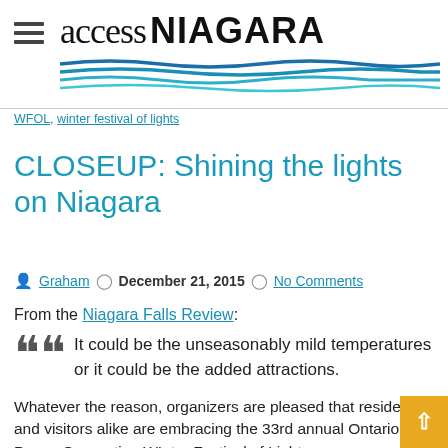access NIAGARA
WFOL, winter festival of lights
CLOSEUP: Shining the lights on Niagara
Graham  December 21, 2015  No Comments
From the Niagara Falls Review:
It could be the unseasonably mild temperatures or it could be the added attractions.
Whatever the reason, organizers are pleased that residents and visitors alike are embracing the 33rd annual Ontario Power Generation WInter Festival of Lights.